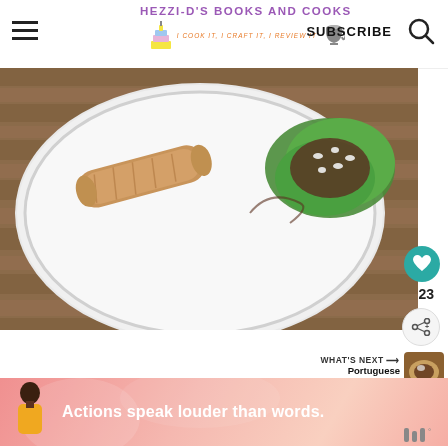HEZZI-D'S BOOKS AND COOKS — I COOK IT, I CRAFT IT, I REVIEW IT — SUBSCRIBE
[Figure (photo): Overhead photo of a white plate on a rustic wooden table with a crispy rolled taquito and a lettuce wrap filled with beef and toppings]
23
WHAT'S NEXT → Portuguese Style Beef...
[Figure (photo): Thumbnail of Portuguese Style Beef dish]
[Figure (infographic): Pink advertisement banner with a person illustration and text: Actions speak louder than words.]
Mw°